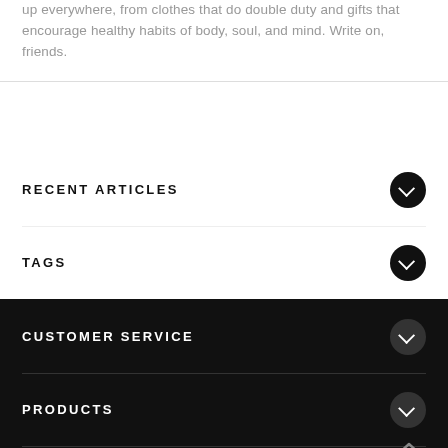up everywhere, from clothes that do double duty and gifts that encourage healthy habits of body, soul, and mind. Write on, friends.
RECENT ARTICLES
TAGS
CUSTOMER SERVICE
PRODUCTS
MY ACCOUNT